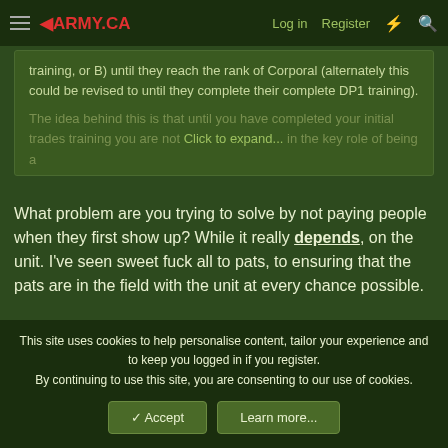ARMY.CA — Log in | Register
training, or B) until they reach the rank of Corporal (alternately this could be revised to until they complete their complete DP1 training).

The idea behind this is that until you have completed your initial trades training you are not... Click to expand...
What problem are you trying to solve by not paying people when they first show up? While it really depends, on the unit. I've seen sweet fuck all to pats, to ensuring that the pats are in the field with the unit at every chance possible.
When I first joined i got paid for everything. Half's day pay for military ID, Half days pay to swear in, Half Days pay to get my kit. We already pay people everytime they walk through the
This site uses cookies to help personalise content, tailor your experience and to keep you logged in if you register.
By continuing to use this site, you are consenting to our use of cookies.